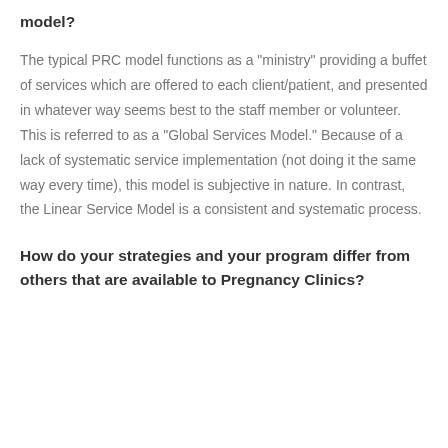model?
The typical PRC model functions as a "ministry" providing a buffet of services which are offered to each client/patient, and presented in whatever way seems best to the staff member or volunteer. This is referred to as a "Global Services Model." Because of a lack of systematic service implementation (not doing it the same way every time), this model is subjective in nature. In contrast, the Linear Service Model is a consistent and systematic process.
How do your strategies and your program differ from others that are available to Pregnancy Clinics?